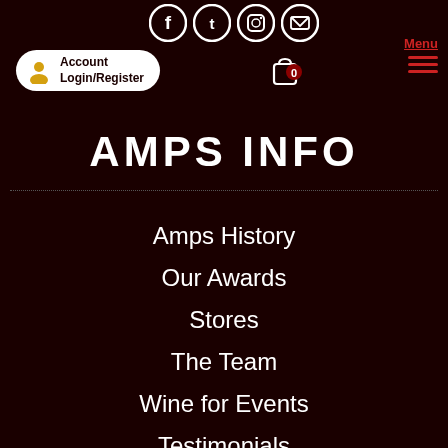Account Login/Register | Menu | Social Icons | Cart 0
AMPS INFO
Amps History
Our Awards
Stores
The Team
Wine for Events
Testimonials
Amps Events
Courses
News